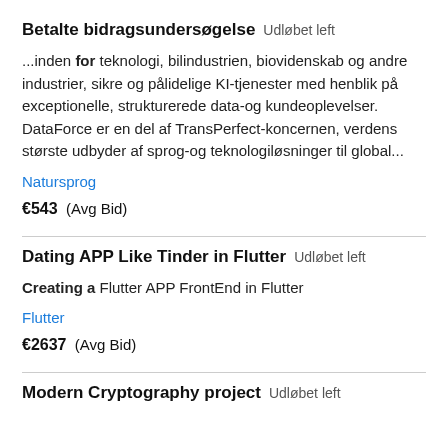Betalte bidragsundersøgelse  Udløbet left
...inden for teknologi, bilindustrien, biovidenskab og andre industrier, sikre og pålidelige KI-tjenester med henblik på exceptionelle, strukturerede data-og kundeoplevelser. DataForce er en del af TransPerfect-koncernen, verdens største udbyder af sprog-og teknologiløsninger til global...
Natursprog
€543  (Avg Bid)
Dating APP Like Tinder in Flutter  Udløbet left
Creating a Flutter APP FrontEnd in Flutter
Flutter
€2637  (Avg Bid)
Modern Cryptography project  Udløbet left